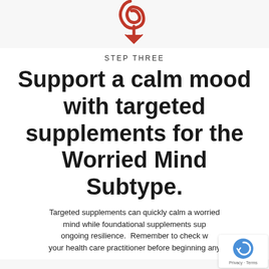[Figure (illustration): Red hand-drawn number 9 with a downward arrow beneath it, indicating 'Step Three' in a sequence]
STEP THREE
Support a calm mood with targeted supplements for the Worried Mind Subtype.
Targeted supplements can quickly calm a worried mind while foundational supplements sup ongoing resilience. Remember to check w your health care practitioner before beginning any